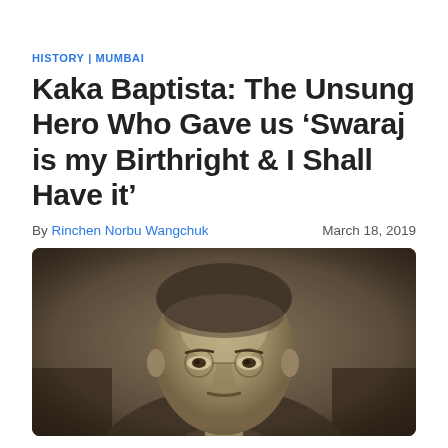HISTORY | MUMBAI
Kaka Baptista: The Unsung Hero Who Gave us ‘Swaraj is my Birthright & I Shall Have it’
By Rinchen Norbu Wangchuk    March 18, 2019
[Figure (photo): Black and white / sepia portrait photograph of Kaka Baptista, showing head and upper shoulders, looking slightly to the side. The image is cropped so only the head and partial face are visible.]